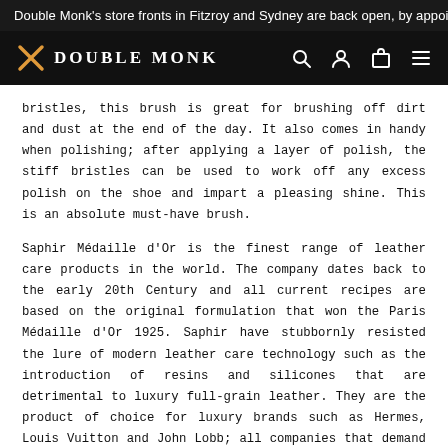Double Monk's store fronts in Fitzroy and Sydney are back open, by appoin
Double Monk
bristles, this brush is great for brushing off dirt and dust at the end of the day. It also comes in handy when polishing; after applying a layer of polish, the stiff bristles can be used to work off any excess polish on the shoe and impart a pleasing shine. This is an absolute must-have brush.
Saphir Médaille d'Or is the finest range of leather care products in the world. The company dates back to the early 20th Century and all current recipes are based on the original formulation that won the Paris Médaille d'Or 1925. Saphir have stubbornly resisted the lure of modern leather care technology such as the introduction of resins and silicones that are detrimental to luxury full-grain leather. They are the product of choice for luxury brands such as Hermes, Louis Vuitton and John Lobb; all companies that demand the best. A beautiful pair of shoes deserves the finest treatment and Saphir is simply the best and only option.